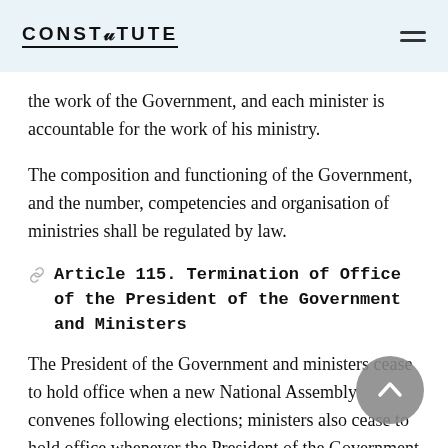CONSTITUTE
the work of the Government, and each minister is accountable for the work of his ministry.
The composition and functioning of the Government, and the number, competencies and organisation of ministries shall be regulated by law.
Article 115. Termination of Office of the President of the Government and Ministers
The President of the Government and ministers cease to hold office when a new National Assembly convenes following elections; ministers also cease to hold office whenever the President of the Government ceases to hold office and whenever such ministers are dismissed or resign; ministers must, however, continue to perform the caretaker duties until the election of a new President